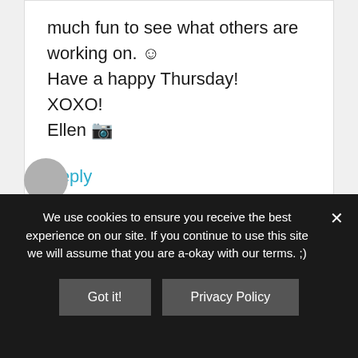much fun to see what others are working on. ☺ Have a happy Thursday! XOXO! Ellen 🌸
Reply
We use cookies to ensure you receive the best experience on our site. If you continue to use this site we will assume that you are a-okay with our terms. ;)